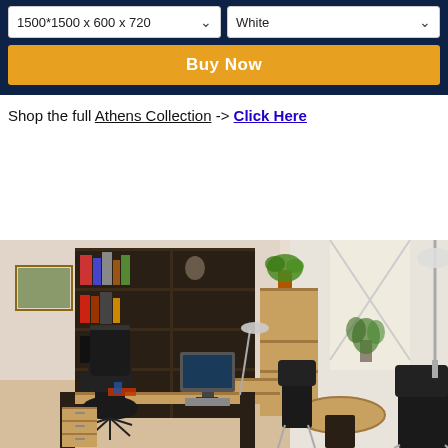1500*1500 x 600 x 720 [dropdown] | White [dropdown]
Buy Now
Shop the full Athens Collection -> Click Here
[Figure (photo): Office furniture showroom photo showing a wooden desk with black office chair, bookcase with dark frame, storage cabinets, computer monitor, and a round conference table with black visitor chairs near a bright window with a floor lamp.]